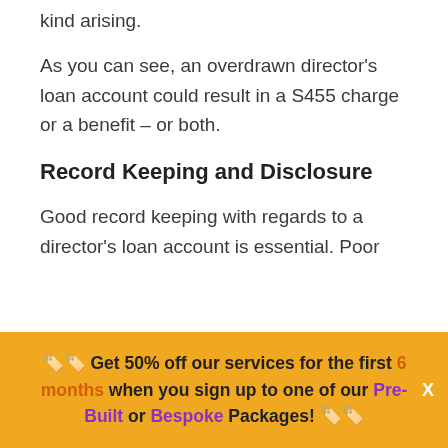kind arising.
As you can see, an overdrawn director's loan account could result in a S455 charge or a benefit – or both.
Record Keeping and Disclosure
Good record keeping with regards to a director's loan account is essential. Poor
[Figure (infographic): Yellow promotional banner with price tag emoji icons. Text reads: Get 50% off our services for the first 6 months when you sign up to one of our Pre-Built or Bespoke Packages! with price tag emojis. An X close button appears on the right.]